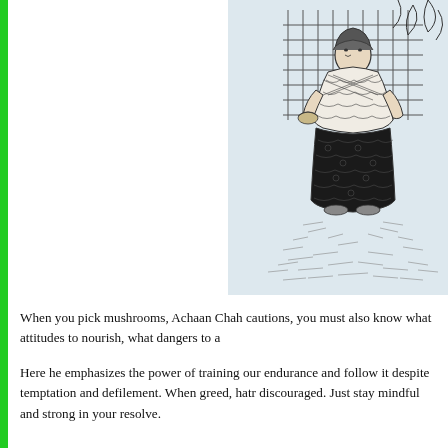[Figure (illustration): Line drawing illustration of a person wearing traditional patterned clothing (decorated shawl/wrap and dark patterned skirt) standing near a fence or lattice structure with plants in the background.]
When you pick mushrooms, Achaan Chah cautions, you must also know what attitudes to nourish, what dangers to a
Here he emphasizes the power of training our endurance and follow it despite temptation and defilement. When greed, hatr discouraged. Just stay mindful and strong in your resolve.